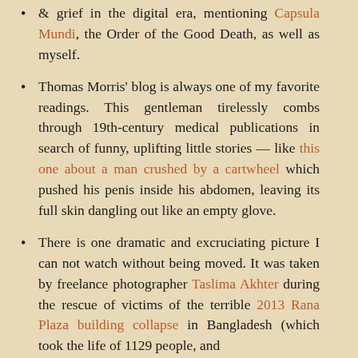& grief in the digital era, mentioning Capsula Mundi, the Order of the Good Death, as well as myself.
Thomas Morris' blog is always one of my favorite readings. This gentleman tirelessly combs through 19th-century medical publications in search of funny, uplifting little stories — like this one about a man crushed by a cartwheel which pushed his penis inside his abdomen, leaving its full skin dangling out like an empty glove.
There is one dramatic and excruciating picture I can not watch without being moved. It was taken by freelance photographer Taslima Akhter during the rescue of victims of the terrible 2013 Rana Plaza building collapse in Bangladesh (which took the life of 1129 people, and